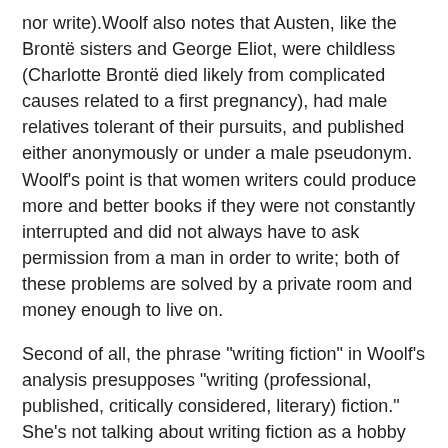nor write).Woolf also notes that Austen, like the Brontë sisters and George Eliot, were childless (Charlotte Brontë died likely from complicated causes related to a first pregnancy), had male relatives tolerant of their pursuits, and published either anonymously or under a male pseudonym. Woolf's point is that women writers could produce more and better books if they were not constantly interrupted and did not always have to ask permission from a man in order to write; both of these problems are solved by a private room and money enough to live on.
Second of all, the phrase "writing fiction" in Woolf's analysis presupposes "writing (professional, published, critically considered, literary) fiction." She's not talking about writing fiction as a hobby or a distraction from the exigencies of everyday life. For her, fiction is a serious and above all professional pursuit. She's attacking the patriarchal paradigm that allows men, whether married or not, whether fathers or not, to be professional writers, while women, especially if married and especially if they had children, were expected to be available at all times, that is, their writing was not deemed professional.